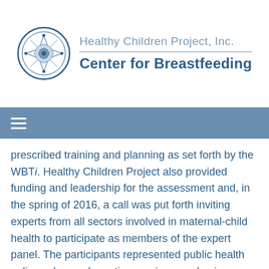Healthy Children Project, Inc. Center for Breastfeeding
prescribed training and planning as set forth by the WBTi. Healthy Children Project also provided funding and leadership for the assessment and, in the spring of 2016, a call was put forth inviting experts from all sectors involved in maternal-child health to participate as members of the expert panel. The participants represented public health policy, advanced practice nursing, academic lactation, maternal-child health education, health communication, anthropology, research, public policy, dietetics, nutrition, nutrition education, medical education, nursing education, Baby